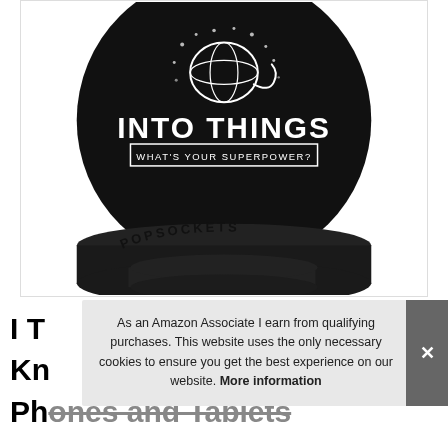[Figure (photo): A PopSocket (phone grip) with a black circular top showing a yarn ball illustration and text 'INTO THINGS WHAT'S YOUR SUPERPOWER?' and a black cylindrical base with 'POPSOCKETS' embossed around it.]
I T Kn Ph...
As an Amazon Associate I earn from qualifying purchases. This website uses the only necessary cookies to ensure you get the best experience on our website. More information